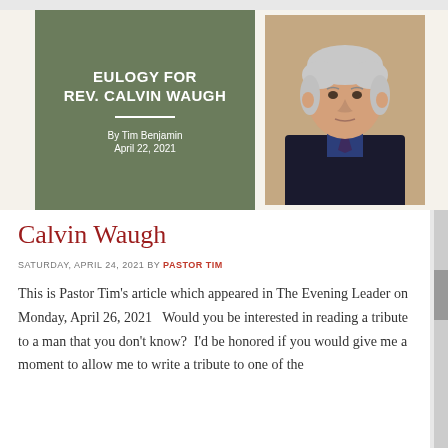[Figure (illustration): Header banner with green box on left containing 'EULOGY FOR REV. CALVIN WAUGH By Tim Benjamin April 22, 2021' and a portrait photo on the right of an elderly white-haired man in a dark suit and tie]
Calvin Waugh
SATURDAY, APRIL 24, 2021 BY PASTOR TIM
This is Pastor Tim's article which appeared in The Evening Leader on Monday, April 26, 2021   Would you be interested in reading a tribute to a man that you don't know?  I'd be honored if you would give me a moment to allow me to write a tribute to one of the